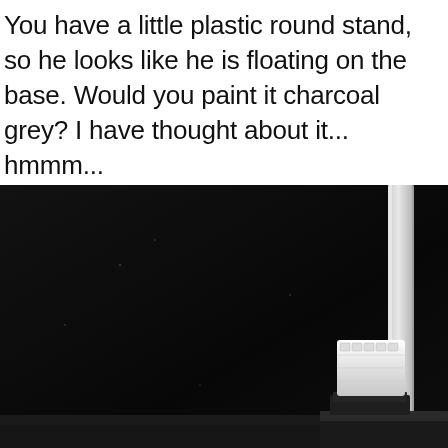You have a little plastic round stand, so he looks like he is floating on the base. Would you paint it charcoal grey? I have thought about it... hmmm...
[Figure (photo): A dark black surface (possibly a TV or monitor screen) photographed at an angle, with a white rectangular object (a small LEGO or model piece) resting on a thin dark base/stand in the lower right area. A silver/white frame edge is visible on the right side of the image.]